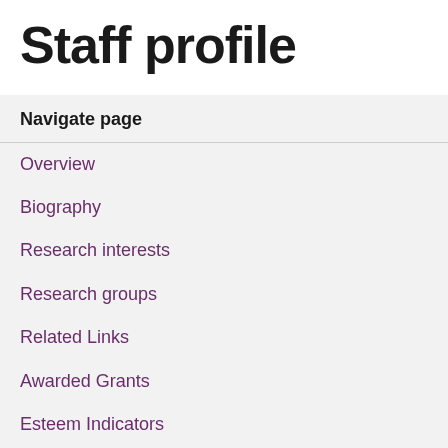Staff profile
Navigate page
Overview
Biography
Research interests
Research groups
Related Links
Awarded Grants
Esteem Indicators
Publications